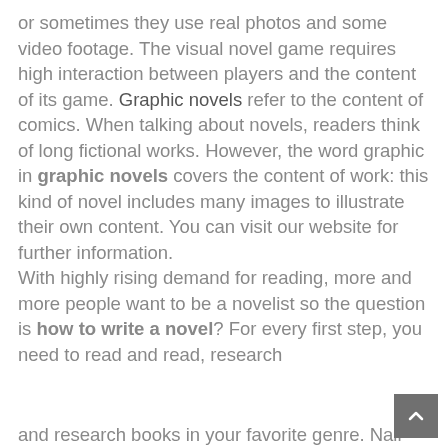or sometimes they use real photos and some video footage. The visual novel game requires high interaction between players and the content of its game. Graphic novels refer to the content of comics. When talking about novels, readers think of long fictional works. However, the word graphic in graphic novels covers the content of work: this kind of novel includes many images to illustrate their own content. You can visit our website for further information. With highly rising demand for reading, more and more people want to be a novelist so the question is how to write a novel? For every first step, you need to read and read, research and research books in your favorite genre. Nail